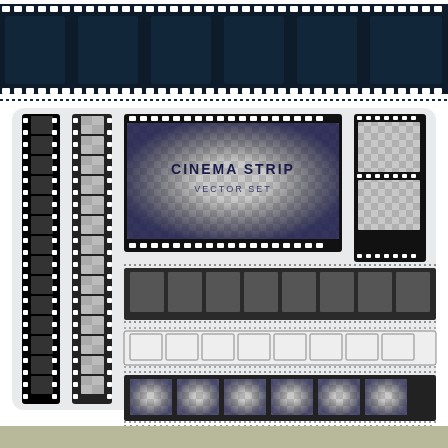[Figure (illustration): Cinema strip vector set illustration showing various film strip designs including horizontal strips with dark frames at top, vertical film strips on left, horizontal film strips with transparent checker frames in middle and bottom sections, and a large cinema strip with 'CINEMA STRIP VECTOR SET' text label in center frame. Multiple variations of film strip styles shown.]